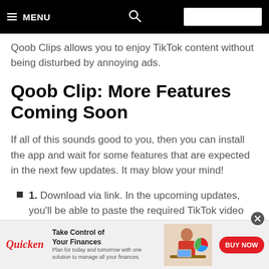≡ MENU
Qoob Clips allows you to enjoy TikTok content without being disturbed by annoying ads.
Qoob Clip: More Features Coming Soon
If all of this sounds good to you, then you can install the app and wait for some features that are expected in the next few updates. It may blow your mind!
1. Download via link. In the upcoming updates, you'll be able to paste the required TikTok video link and download the single clip.
[Figure (other): Quicken advertisement banner: 'Take Control of Your Finances' with BUY NOW button and image of woman working at desk]